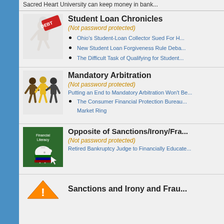Sacred Heart University can keep money in bank...
Student Loan Chronicles
(Not password protected)
Ohio's Student-Loan Collector Sued For H...
New Student Loan Forgiveness Rule Deba...
The Difficult Task of Qualifying for Student...
Mandatory Arbitration
(Not password protected)
Putting an End to Mandatory Arbitration Won't Be...
The Consumer Financial Protection Bureau... Market Ring
Opposite of Sanctions/Irony/Fra...
(Not password protected)
Retired Bankruptcy Judge to Financially Educate...
Sanctions and Irony and Frau...